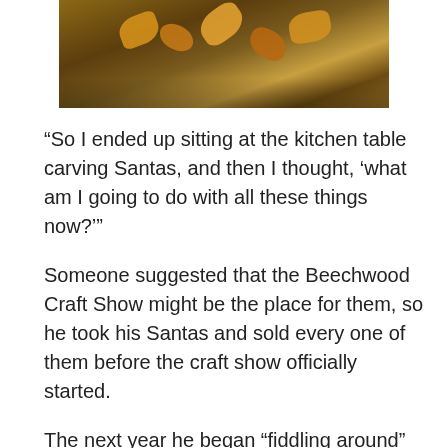[Figure (photo): Close-up photo of carved wooden pieces or autumn leaves on grass/ground, showing brown and golden tones.]
“So I ended up sitting at the kitchen table carving Santas, and then I thought, ‘what am I going to do with all these things now?’”
Someone suggested that the Beechwood Craft Show might be the place for them, so he took his Santas and sold every one of them before the craft show officially started.
The next year he began “fiddling around” with his own designs. He says he named his first one Adam and the rest soon followed.
“It turned into a love, I guess, and the people’s excitement when it would come time to sell them,